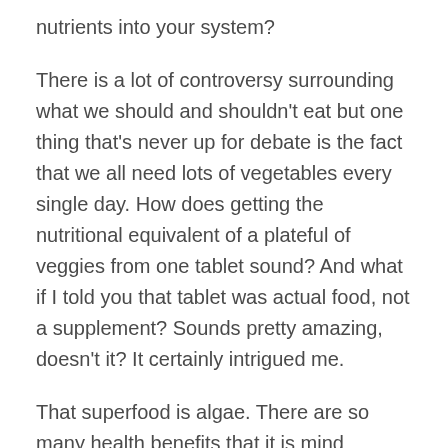nutrients into your system?
There is a lot of controversy surrounding what we should and shouldn't eat but one thing that's never up for debate is the fact that we all need lots of vegetables every single day. How does getting the nutritional equivalent of a plateful of veggies from one tablet sound? And what if I told you that tablet was actual food, not a supplement? Sounds pretty amazing, doesn't it? It certainly intrigued me.
That superfood is algae. There are so many health benefits that it is mind blowing. Hear all about them on this week's episode of Clean Beauty Scene